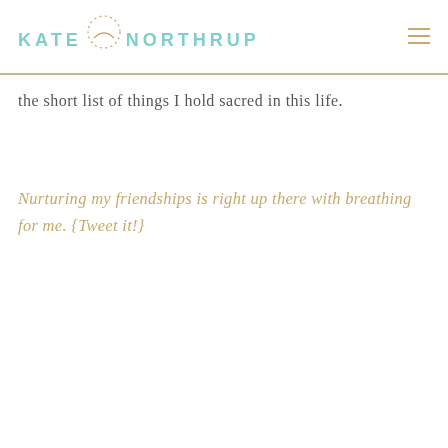KATE NORTHRUP
the short list of things I hold sacred in this life.
Nurturing my friendships is right up there with breathing for me. {Tweet it!}